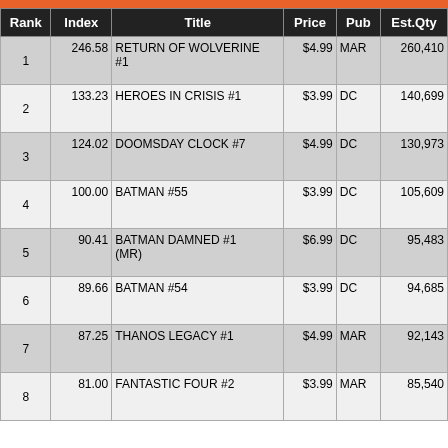| Rank | Index | Title | Price | Pub | Est.Qty |
| --- | --- | --- | --- | --- | --- |
| 1 | 246.58 | RETURN OF WOLVERINE #1 | $4.99 | MAR | 260,410 |
| 2 | 133.23 | HEROES IN CRISIS #1 | $3.99 | DC | 140,699 |
| 3 | 124.02 | DOOMSDAY CLOCK #7 | $4.99 | DC | 130,973 |
| 4 | 100.00 | BATMAN #55 | $3.99 | DC | 105,609 |
| 5 | 90.41 | BATMAN DAMNED #1 (MR) | $6.99 | DC | 95,483 |
| 6 | 89.66 | BATMAN #54 | $3.99 | DC | 94,685 |
| 7 | 87.25 | THANOS LEGACY #1 | $4.99 | MAR | 92,143 |
| 8 | 81.00 | FANTASTIC FOUR #2 | $3.99 | MAR | 85,540 |